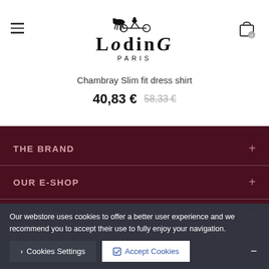[Figure (logo): Loding Paris logo with horse and sulky icon above the brand name]
Chambray Slim fit dress shirt
40,83 € 58,33 €
THE BRAND
OUR E-SHOP
MY ORDER
HELP
Our webstore uses cookies to offer a better user experience and we recommend you to accept their use to fully enjoy your navigation.
Cookies Settings   Accept Cookies